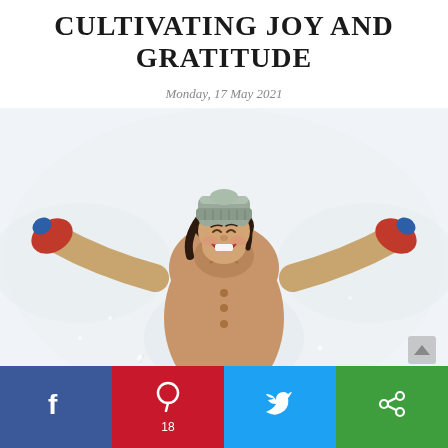CULTIVATING JOY AND GRATITUDE
Monday, 17 May 2021
[Figure (photo): A joyful woman in a tan coat and grey knit hat lying in the snow with arms spread wide, laughing with eyes closed, wearing red and blue mittens.]
Facebook | Pinterest 18 | Twitter | Share